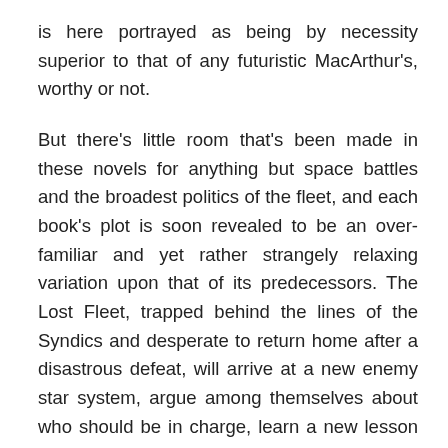is here portrayed as being by necessity superior to that of any futuristic MacArthur's, worthy or not.

But there's little room that's been made in these novels for anything but space battles and the broadest politics of the fleet, and each book's plot is soon revealed to be an over-familiar and yet rather strangely relaxing variation upon that of its predecessors. The Lost Fleet, trapped behind the lines of the Syndics and desperate to return home after a disastrous defeat, will arrive at a new enemy star system, argue among themselves about who should be in charge, learn a new lesson about how to fight as a team under the leadership of the good and decent Captain, and then head off in the direction of another such situation. The formula is never substantially challenged, and the focus of the text never concerns itself with the lot or inner